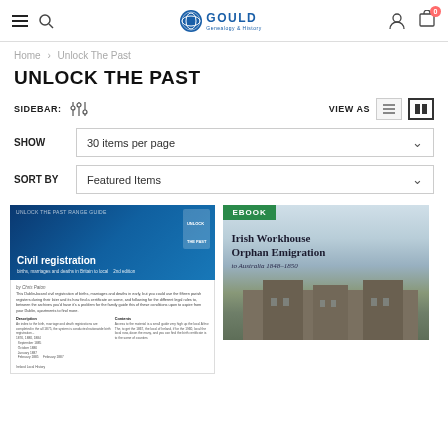Gould Genealogy & History — Navigation header with hamburger menu, search, logo, account, and cart (0 items)
Home > Unlock The Past
UNLOCK THE PAST
SIDEBAR: [filter icon] VIEW AS [list view] [grid view]
SHOW  30 items per page
SORT BY  Featured Items
[Figure (photo): Civil Registration book cover — dark blue gradient background with title 'Civil registration births, marriages and deaths in Britain to local — 2nd edition' by Chris Paton, with an inner page showing book text and columns]
[Figure (photo): Irish Workhouse Orphan Emigration to Australia 1848-1850 book cover with EBOOK badge, showing a stone building covered in vines under a light sky]